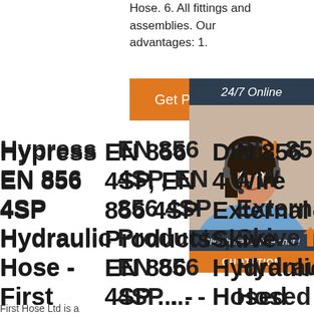Hose. 6. All fittings and assemblies. Our advantages: 1.
[Figure (other): Orange 'Get Price' button]
[Figure (other): 24/7 Online chat widget with customer service representative photo, 'Click here for free chat!' text, and orange QUOTATION button]
Hypress EN 856 4SP Hydraulic Hose - First Hose
First Hose Ltd is a
EN 856 4SP, EN 856 4SP Products, EN 856 4SP ... - UGW Hose
DIN EN 856 4SH / 4 Wire External Skive Hydraulic Hosed